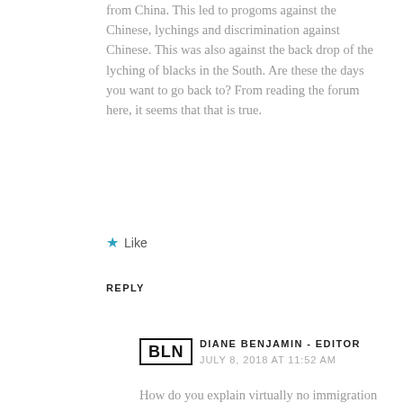from China. This led to progoms against the Chinese, lychings and discrimination against Chinese. This was also against the back drop of the lyching of blacks in the South. Are these the days you want to go back to? From reading the forum here, it seems that that is true.
Like
REPLY
BLN
DIANE BENJAMIN - EDITOR
JULY 8, 2018 AT 11:52 AM
How do you explain virtually no immigration from the 1920's through 1960's?
Like